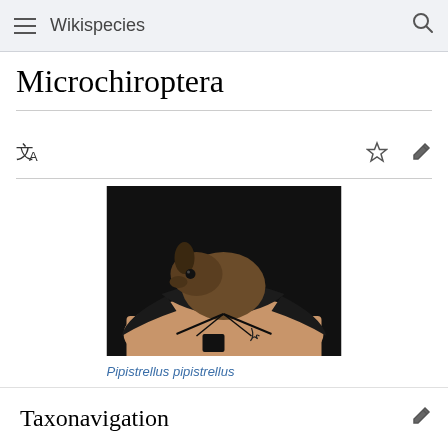Wikispecies
Microchiroptera
[Figure (photo): A small brown bat (Pipistrellus pipistrellus) resting on a human hand, with dark wings spread. The bat has brown fur and is photographed against a dark background.]
Pipistrellus pipistrellus
Taxonavigation